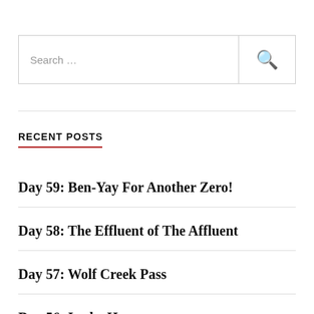Search …
RECENT POSTS
Day 59: Ben-Yay For Another Zero!
Day 58: The Effluent of The Affluent
Day 57: Wolf Creek Pass
Day 56: In the H…